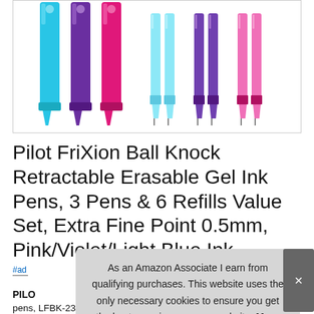[Figure (photo): Photo of Pilot FriXion Ball Knock retractable gel ink pens in pink, violet/purple, and light blue colors, with corresponding refill cartridges shown beside them, all displayed vertically against a white background.]
Pilot FriXion Ball Knock Retractable Erasable Gel Ink Pens, 3 Pens & 6 Refills Value Set, Extra Fine Point 0.5mm, Pink/Violet/Light Blue Ink
#ad
As an Amazon Associate I earn from qualifying purchases. This website uses the only necessary cookies to ensure you get the best experience on our website. More information
PILO
pens, LFBK-23EF-LB LFBK-23EF-V lfbk-23EF-P, 3 Pens, The